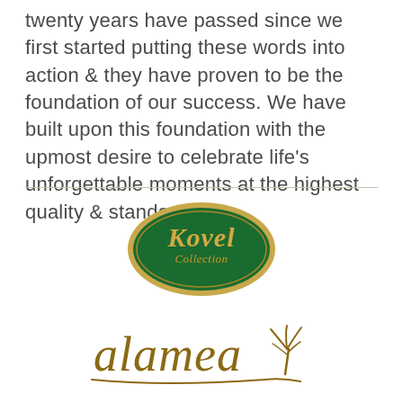twenty years have passed since we first started putting these words into action & they have proven to be the foundation of our success. We have built upon this foundation with the upmost desire to celebrate life's unforgettable moments at the highest quality & standards.
[Figure (logo): Kovel Collection logo — green oval with gold border and gold italic text reading 'Kovel Collection']
[Figure (logo): Alamea logo — gold cursive handwritten text 'alamea' with a palm tree icon and underline stroke]